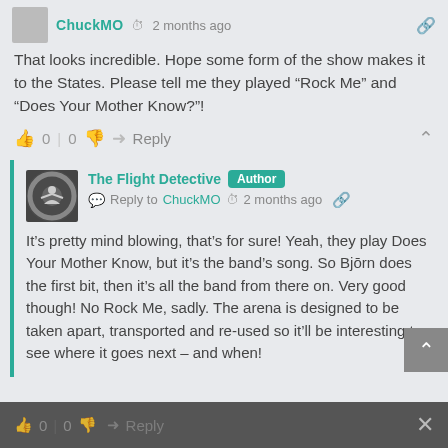ChuckMO · 2 months ago
That looks incredible. Hope some form of the show makes it to the States. Please tell me they played “Rock Me” and “Does Your Mother Know?”!
0 | 0  Reply
The Flight Detective  Author
Reply to ChuckMO  2 months ago
It’s pretty mind blowing, that’s for sure! Yeah, they play Does Your Mother Know, but it’s the band’s song. So Bjōrn does the first bit, then it’s all the band from there on. Very good though! No Rock Me, sadly. The arena is designed to be taken apart, transported and re-used so it’ll be interesting to see where it goes next – and when!
0 | 0  Reply  ×